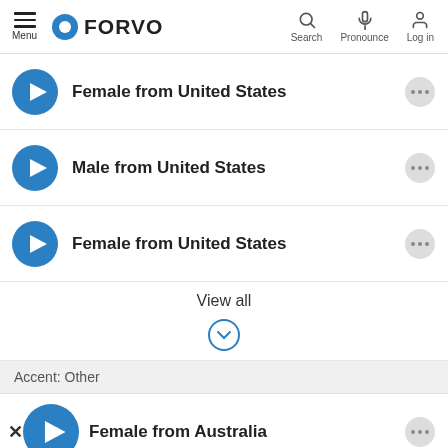Menu | FORVO | Search | Pronounce | Log in
Female from United States
Male from United States
Female from United States
View all
Accent: Other
Female from Australia